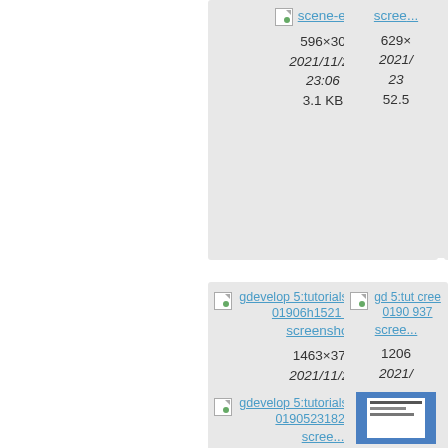[Figure (screenshot): File browser grid showing image thumbnails with filenames, dimensions, dates, and file sizes. Top-left card (partially visible): scene-eve... link, 596×30, 2021/11/22 23:06, 3.1 KB. Top-right card (partially cut off): scree... link, 629×..., 2021/..., 23..., 52.5... Middle-left card: broken image icon + gdevelop5:tutorials:screenshot_201906h15214035.png link, screensho... label, 1463×374, 2021/11/22 23:06, 78 KB. Middle-right card (partially cut off): broken image icon + gd... 5:tuto... creen... 01905... 937... link, scree... label, 1206..., 2021/..., 23..., 242.... Bottom-left card: broken image icon + gdevelop5:tutorials:screenshot_20190523182052.png link, scree... label. Bottom-right card: thumbnail image preview (blue background with white document icon).]